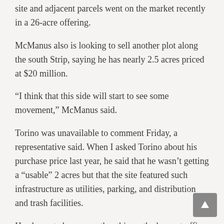site and adjacent parcels went on the market recently in a 26-acre offering.
McManus also is looking to sell another plot along the south Strip, saying he has nearly 2.5 acres priced at $20 million.
“I think that this side will start to see some movement,” McManus said.
Torino was unavailable to comment Friday, a representative said. When I asked Torino about his purchase price last year, he said that he wasn’t getting a “usable” 2 acres but that the site featured such infrastructure as utilities, parking, and distribution and trash facilities.
He also noted, among other things, the heavy traffic of people out front.
“It doesn’t get any better,” he said.
So, will land on the south Strip trade for anywhere close to $40 million an acre? Your guess is as good as mine.
But plenty of money has been sloshing around Las Vegas’ real